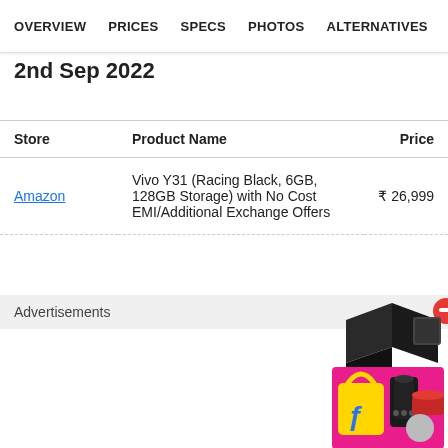OVERVIEW  PRICES  SPECS  PHOTOS  ALTERNATIVES
2nd Sep 2022
| Store | Product Name | Price |
| --- | --- | --- |
| Amazon | Vivo Y31 (Racing Black, 6GB, 128GB Storage) with No Cost EMI/Additional Exchange Offers | ₹ 26,999 |
Advertisements
[Figure (illustration): Flipkart advertisement box with shopping bag and kitchen appliances]